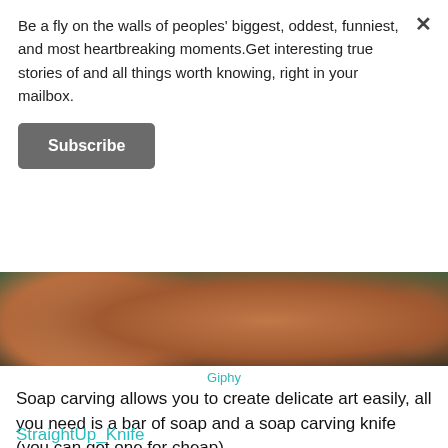Be a fly on the walls of peoples' biggest, oddest, funniest, and most heartbreaking moments.Get interesting true stories of and all things worth knowing, right in your mailbox.
[Figure (photo): Close-up video still of hands holding a bar of soap, being carved. Dark background with green tones. Labeled as Giphy.]
Giphy
Soap carving allows you to create delicate art easily, all you need is a bar of soap and a soap carving knife (you can get one for cheap).
StraightUp_Knife